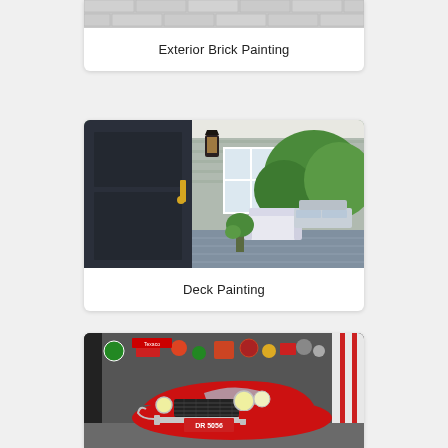[Figure (photo): Exterior brick wall painted light grey/white color, partial view at top of card]
Exterior Brick Painting
[Figure (photo): Front porch of a house with a dark navy door, black lantern light fixture, light blue-grey horizontal siding, and a furnished porch deck with white wicker furniture and green trees in background]
Deck Painting
[Figure (photo): Vintage red Corvette sports car (late 1950s era) parked in a decorated garage with license plate DR 5056, various signs and decorations on dark grey wall, red trim on right side door]